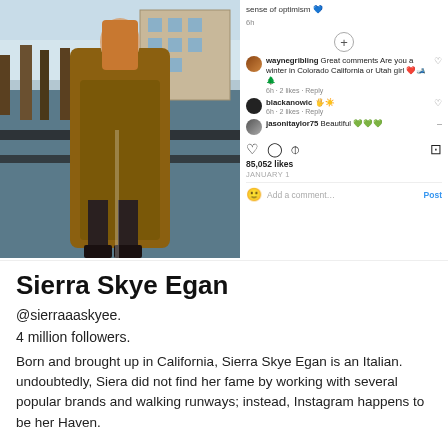[Figure (screenshot): Instagram post screenshot showing a woman in a fur coat standing on a snowy outdoor balcony, with Instagram comments sidebar showing interactions from users waynegribling, blackanowic, and jasonitaylor75, with 85,052 likes and a comment input field.]
Sierra Skye Egan
@sierraaaskyee.
4 million followers.
Born and brought up in California, Sierra Skye Egan is an Italian. undoubtedly, Siera did not find her fame by working with several popular brands and walking runways; instead, Instagram happens to be her Haven.